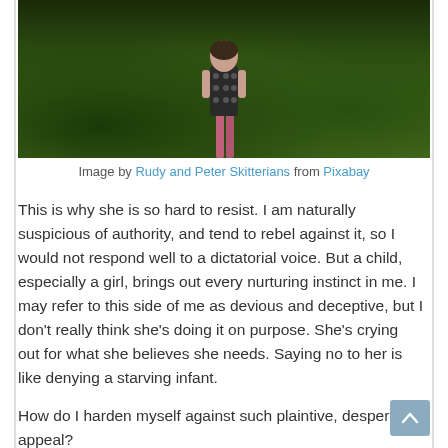[Figure (photo): A child standing with back to camera in a grass yard, wearing a patterned dress and pink leggings, with a fence and bicycle visible in the background. Dark, moody HDR-style photograph.]
Image by Rudy and Peter Skitterians from Pixabay
This is why she is so hard to resist. I am naturally suspicious of authority, and tend to rebel against it, so I would not respond well to a dictatorial voice. But a child, especially a girl, brings out every nurturing instinct in me. I may refer to this side of me as devious and deceptive, but I don't really think she's doing it on purpose. She's crying out for what she believes she needs. Saying no to her is like denying a starving infant.
How do I harden myself against such plaintive, desperate appeal?